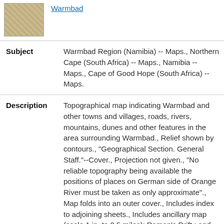[Figure (photo): Small thumbnail image of a topographical map, brownish tones with map lines visible]
Warmbad
| Subject | Warmbad Region (Namibia) -- Maps., Northern Cape (South Africa) -- Maps., Namibia -- Maps., Cape of Good Hope (South Africa) -- Maps. |
| Description | Topographical map indicating Warmbad and other towns and villages, roads, rivers, mountains, dunes and other features in the area surrounding Warmbad., Relief shown by contours., "Geographical Section. General Staff."--Cover., Projection not given., "No reliable topography being available the positions of places on German side of Orange River must be taken as only approximate"., Map folds into an outer cover., Includes index to adjoining sheets., Includes ancillary map (scale 1 in. to 0.5 miles): Raman's Drift ; and two ancillary sketches: Orange River at Raman's |